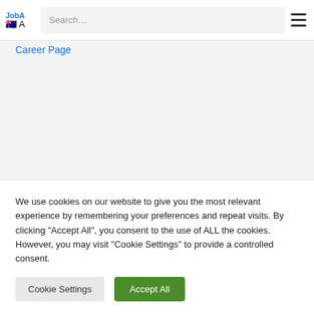JobA A [flag] Search…
Career Page
We use cookies on our website to give you the most relevant experience by remembering your preferences and repeat visits. By clicking "Accept All", you consent to the use of ALL the cookies. However, you may visit "Cookie Settings" to provide a controlled consent.
Cookie Settings | Accept All